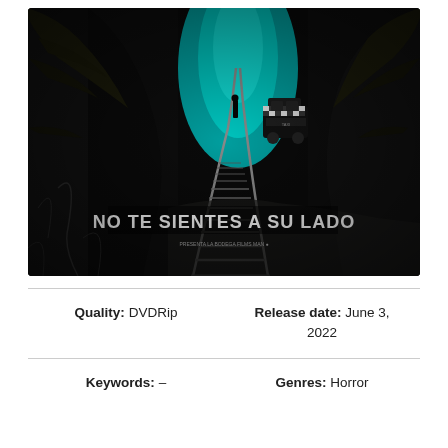[Figure (photo): Movie poster for a Spanish horror film. Dark atmospheric image showing railroad tracks leading into a teal/turquoise lit forest with a dark figure standing on the tracks. A checkered vehicle (taxi/car) is visible. Text reads 'NO TE SIENTES A SU LADO' in bold white letters at the bottom, with smaller production credits below.]
Quality: DVDRip
Release date: June 3, 2022
Keywords: –
Genres: Horror